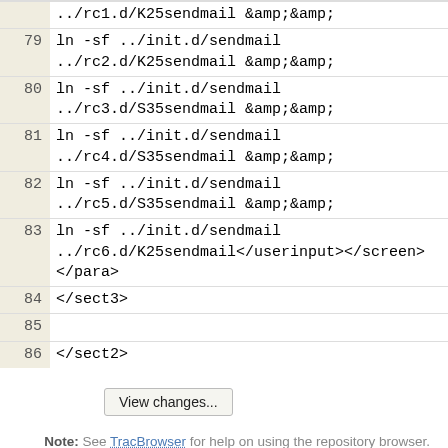| line | code |
| --- | --- |
|  | ../rc1.d/K25sendmail &amp;&amp; |
| 79 | ln -sf ../init.d/sendmail
../rc2.d/K25sendmail &amp;&amp; |
| 80 | ln -sf ../init.d/sendmail
../rc3.d/S35sendmail &amp;&amp; |
| 81 | ln -sf ../init.d/sendmail
../rc4.d/S35sendmail &amp;&amp; |
| 82 | ln -sf ../init.d/sendmail
../rc5.d/S35sendmail &amp;&amp; |
| 83 | ln -sf ../init.d/sendmail
../rc6.d/K25sendmail</userinput></screen>
</para> |
| 84 | </sect3> |
| 85 |  |
| 86 | </sect2> |
View changes...
Note: See TracBrowser for help on using the repository browser.
Download in other formats:
Plain Text | Original Format
Powered by Trac 1.5.3.dev0